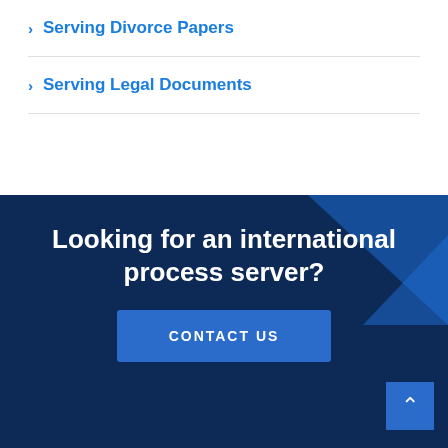> Serving Divorce Papers
> Serving Legal Documents
Looking for an international process server?
CONTACT US